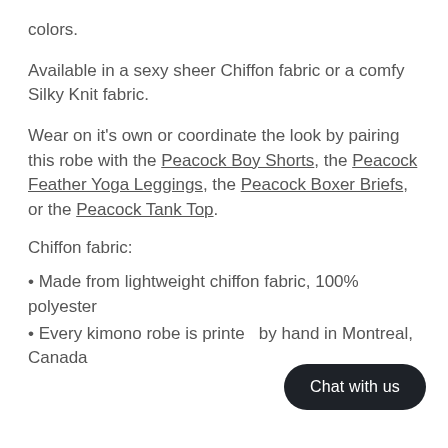colors.
Available in a sexy sheer Chiffon fabric or a comfy Silky Knit fabric.
Wear on it's own or coordinate the look by pairing this robe with the Peacock Boy Shorts, the Peacock Feather Yoga Leggings, the Peacock Boxer Briefs, or the Peacock Tank Top.
Chiffon fabric:
• Made from lightweight chiffon fabric, 100% polyester
• Every kimono robe is printed by hand in Montreal, Canada